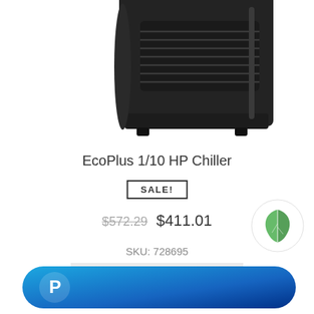[Figure (photo): Product photo of EcoPlus 1/10 HP Chiller, a black box-shaped refrigeration unit with ventilation grilles on top, cropped at top]
EcoPlus 1/10 HP Chiller
SALE!
$572.29  $411.01
SKU: 728695
Add to cart
[Figure (logo): Green leaf logo (EcoPlus brand) in a white circular badge]
[Figure (logo): PayPal checkout button, blue rounded rectangle with PayPal P logo]